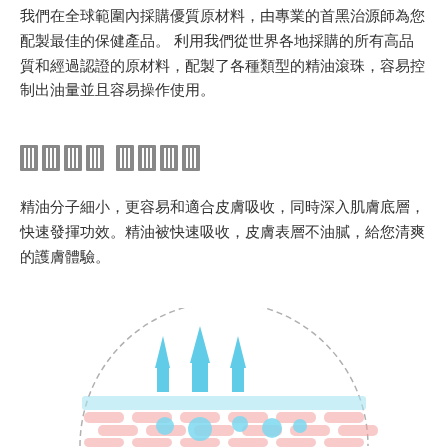我們在全球範圍內採購優質原材料，由專業的首黑治源師為您配製最佳的保健產品。 利用我們從世界各地採購的所有高品質和經過認證的原材料，配製了各種類型的精油滾珠，容易控制出油量並且容易操作使用。
產品 功效
精油分子細小，更容易和適合皮膚吸收，同時深入肌膚底層，快速發揮功效。精油被快速吸收，皮膚表層不油膩，給您清爽的護膚體驗。
[Figure (illustration): Diagram showing essential oil molecules (blue circles and arrows) penetrating through skin layers (pink striped layers) with a dashed semicircle outline above.]